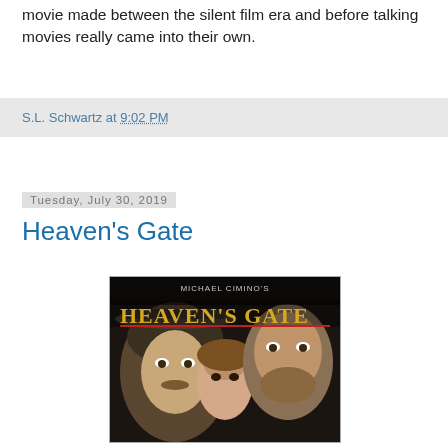movie made between the silent film era and before talking movies really came into their own.
S.L. Schwartz at 9:02 PM
Tuesday, July 30, 2019
Heaven's Gate
[Figure (photo): Movie poster for Heaven's Gate showing three faces (two men and a woman) with the title 'HEAVEN'S GATE' in large gold letters and 'MICHAEL CIMINO'S' above it]